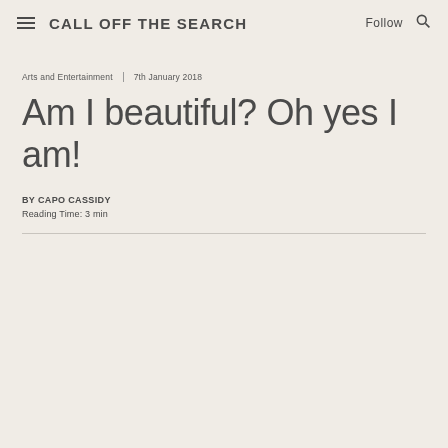CALL OFF THE SEARCH
Arts and Entertainment   7th January 2018
Am I beautiful? Oh yes I am!
BY Capo Cassidy
Reading Time: 3 min